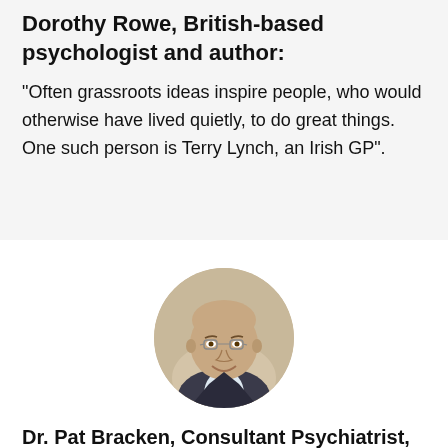Dorothy Rowe, British-based psychologist and author:
“Often grassroots ideas inspire people, who would otherwise have lived quietly, to do great things. One such person is Terry Lynch, an Irish GP”.
[Figure (photo): Circular portrait photo of Dr. Pat Bracken, a middle-aged bald man wearing glasses and a suit with a red tie, smiling.]
Dr. Pat Bracken, Consultant Psychiatrist, West Cork Mental Health Services, Ireland:
“A true scientist, he has contributed enormously to